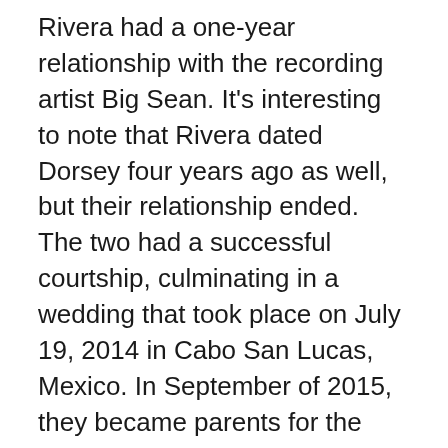Rivera had a one-year relationship with the recording artist Big Sean. It's interesting to note that Rivera dated Dorsey four years ago as well, but their relationship ended. The two had a successful courtship, culminating in a wedding that took place on July 19, 2014 in Cabo San Lucas, Mexico. In September of 2015, they became parents for the first time to their son Josey Hollis Dorsey. However, things did not always go smoothly between them, and in 2016, Rivera and Dorsey's marriage began to have difficulties as a result. In November of 2016, they submitted the petition for divorce. She was named to the 'World's Sexiest Woman' list by FHM, the '50 Most Beautiful' list by Persons en Espaol, and the 'Hot 100' list by Maxim three times. She is widely considered to be one of the